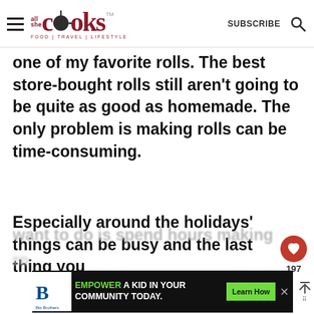all she cooks — FOOD | TRAVEL | LIFESTYLE — SUBSCRIBE
one of my favorite rolls. The best store-bought rolls still aren't going to be quite as good as homemade. The only problem is making rolls can be time-consuming.
Especially around the holidays' things can be busy and the last thing you want to do is spend hours making ro...
[Figure (other): Big Brothers Big Sisters advertisement banner: EMPOWER A KID IN YOUR COMMUNITY TODAY. Learn How button.]